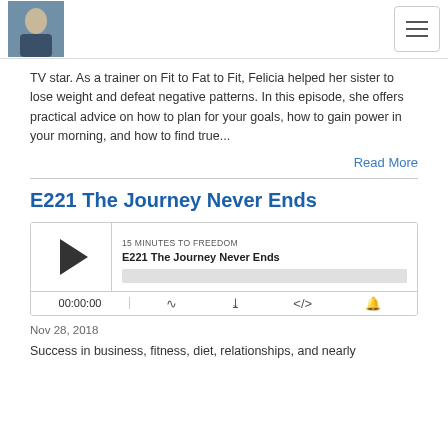15 Minutes to Freedom podcast header with logo and hamburger menu
TV star. As a trainer on Fit to Fat to Fit, Felicia helped her sister to lose weight and defeat negative patterns. In this episode, she offers practical advice on how to plan for your goals, how to gain power in your morning, and how to find true...
Read More
E221 The Journey Never Ends
[Figure (screenshot): Podcast audio player widget showing '15 MINUTES TO FREEDOM' podcast, episode 'E221 The Journey Never Ends', with play button, progress bar, time display 00:00:00, and control icons for RSS, download, embed, and share]
Nov 28, 2018
Success in business, fitness, diet, relationships, and nearly